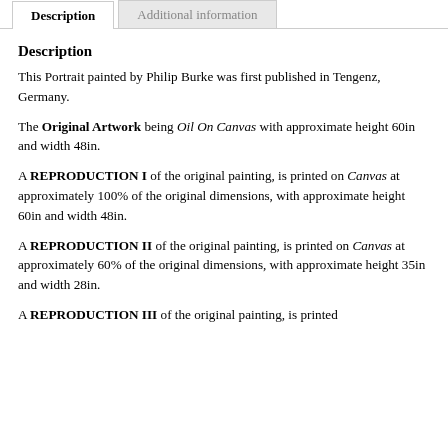Description | Additional information
Description
This Portrait painted by Philip Burke was first published in Tengenz, Germany.
The Original Artwork being Oil On Canvas with approximate height 60in and width 48in.
A REPRODUCTION I of the original painting, is printed on Canvas at approximately 100% of the original dimensions, with approximate height 60in and width 48in.
A REPRODUCTION II of the original painting, is printed on Canvas at approximately 60% of the original dimensions, with approximate height 35in and width 28in.
A REPRODUCTION III of the original painting, is printed